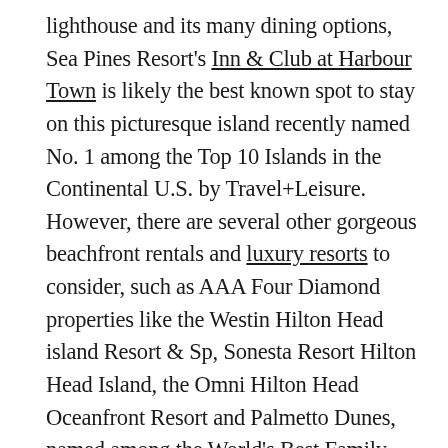lighthouse and its many dining options, Sea Pines Resort's Inn & Club at Harbour Town is likely the best known spot to stay on this picturesque island recently named No. 1 among the Top 10 Islands in the Continental U.S. by Travel+Leisure. However, there are several other gorgeous beachfront rentals and luxury resorts to consider, such as AAA Four Diamond properties like the Westin Hilton Head island Resort & Sp, Sonesta Resort Hilton Head Island, the Omni Hilton Head Oceanfront Resort and Palmetto Dunes, named among the World's Best Family Resorts, with amenities like a 3-mile wide Atlantic Ocean beachfront, 25 tennis courts and an 11-mile long saltwater lagoon that's popular for kayaking.